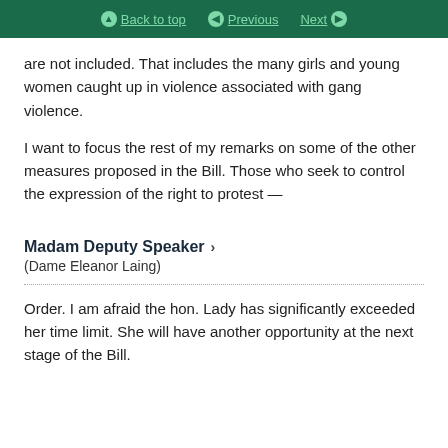Back to top | Previous | Next
are not included. That includes the many girls and young women caught up in violence associated with gang violence.
I want to focus the rest of my remarks on some of the other measures proposed in the Bill. Those who seek to control the expression of the right to protest —
Madam Deputy Speaker
(Dame Eleanor Laing)
Order. I am afraid the hon. Lady has significantly exceeded her time limit. She will have another opportunity at the next stage of the Bill.